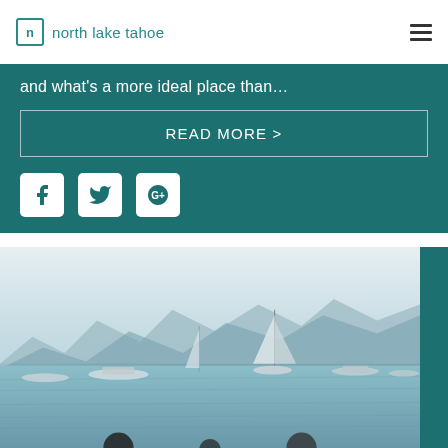north lake tahoe
and what's a more ideal place than…
READ MORE >
[Figure (screenshot): Lake scene with sailboats and motorboats on calm water, mountains in background, overcast sky. Teal accent bar on right edge.]